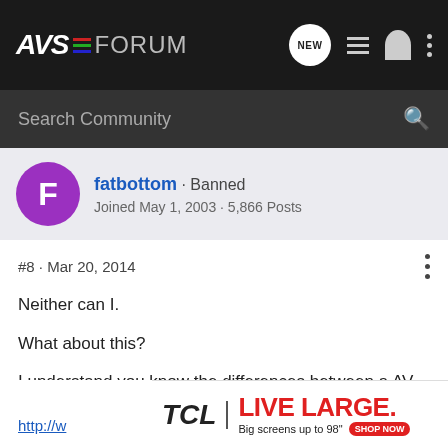AVS FORUM
Search Community
fatbottom · Banned
Joined May 1, 2003 · 5,866 Posts
#8 · Mar 20, 2014
Neither can I.

What about this?

I understand you know the differences between a AV amplifier and a power amplifier?
http://w...
[Figure (other): TCL advertisement banner: TCL | LIVE LARGE. Big screens up to 98" SHOP NOW]